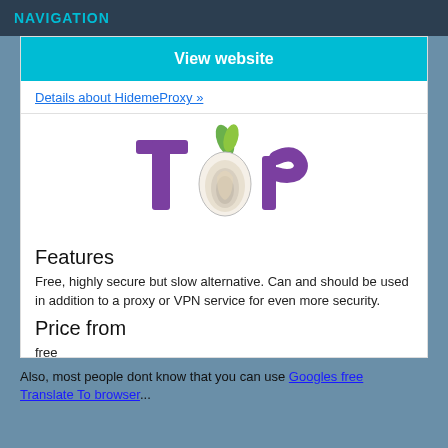NAVIGATION
View website
Details about HidemeProxy »
[Figure (logo): Tor Project logo — purple stylized text 'Tor' with an onion replacing the letter 'o']
Features
Free, highly secure but slow alternative. Can and should be used in addition to a proxy or VPN service for even more security.
Price from
free
View website
Details about Torproject »
Also, most people dont know that you can use Googles free Translate To browser...